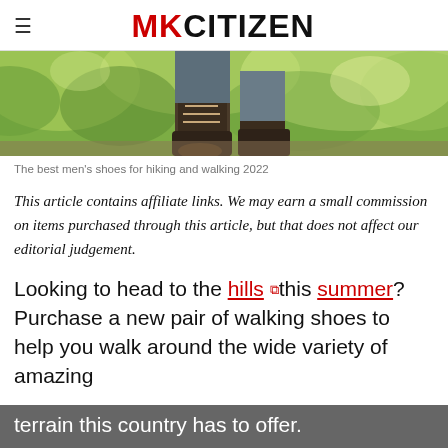MKCITIZEN
[Figure (photo): Close-up photo of hiking boots on a person walking outdoors among green foliage]
The best men's shoes for hiking and walking 2022
This article contains affiliate links. We may earn a small commission on items purchased through this article, but that does not affect our editorial judgement.
Looking to head to the hills this summer? Purchase a new pair of walking shoes to help you walk around the wide variety of amazing terrain this country has to offer.